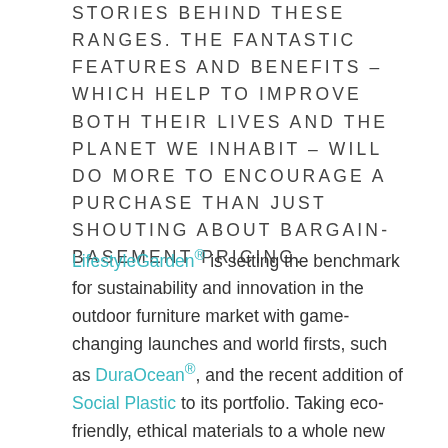STORIES BEHIND THESE RANGES. THE FANTASTIC FEATURES AND BENEFITS – WHICH HELP TO IMPROVE BOTH THEIR LIVES AND THE PLANET WE INHABIT – WILL DO MORE TO ENCOURAGE A PURCHASE THAN JUST SHOUTING ABOUT BARGAIN-BASEMENT PRICING.
LifestyleGarden® is setting the benchmark for sustainability and innovation in the outdoor furniture market with game-changing launches and world firsts, such as DuraOcean®, and the recent addition of Social Plastic to its portfolio. Taking eco-friendly, ethical materials to a whole new level, this unique recycled plastic material helps to clear the world's waterways of plastic pollution, whilst also supporting local communities who collect the waste